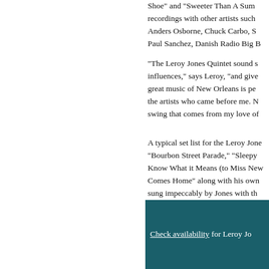Shoe" and "Sweeter Than A Sum... recordings with other artists such... Anders Osborne, Chuck Carbo, S... Paul Sanchez, Danish Radio Big ...
"The Leroy Jones Quintet sound s... influences," says Leroy, "and give... great music of New Orleans is pe... the artists who came before me. N... swing that comes from my love of...
A typical set list for the Leroy Jone... "Bourbon Street Parade," "Sleepy... Know What it Means (to Miss New... Comes Home" along with his own... sung impeccably by Jones with th... pedigree can deliver consistently...
Check availability for Leroy Jo...